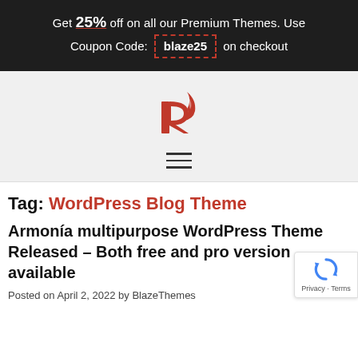Get 25% off on all our Premium Themes. Use Coupon Code: blaze25 on checkout
[Figure (logo): Blaze Themes red flame logo mark (stylized R with flame)]
[Figure (other): Hamburger menu icon with three horizontal lines]
Tag: WordPress Blog Theme
Armonía multipurpose WordPress Theme Released – Both free and pro version available
Posted on April 2, 2022 by BlazeThemes